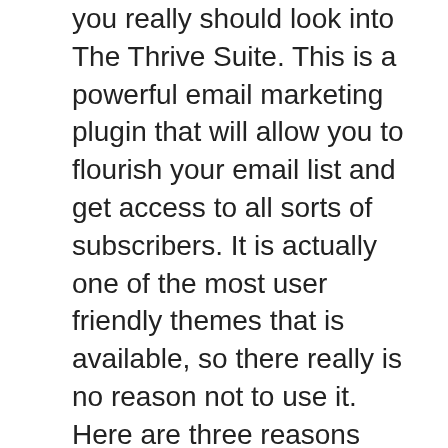you really should look into The Thrive Suite. This is a powerful email marketing plugin that will allow you to flourish your email list and get access to all sorts of subscribers. It is actually one of the most user friendly themes that is available, so there really is no reason not to use it. Here are three reasons why.
One: The thrive suite has two pricing plans that are flexible, which may find you very happy indeed. Firstly you have the standard WordPress Theme that is absolutely free. You can also get access to their premium WLL themes which cost a little bit more money but are absolutely worth it. Once you have downloaded your WordPress theme, there is no limit as to what you can create or personalize it with. There are literally hundreds of different color schemes to choose